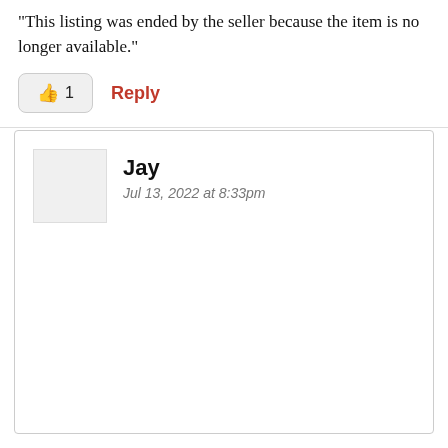“This listing was ended by the seller because the item is no longer available.”
👍 1   Reply
Jay
Jul 13, 2022 at 8:33pm